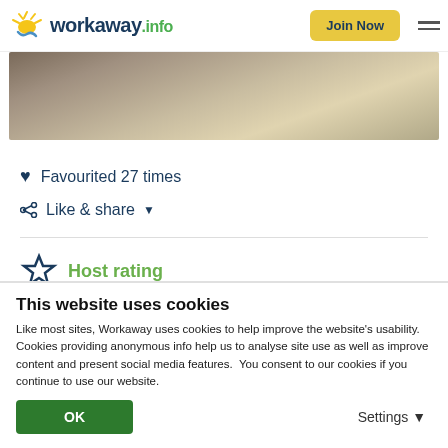[Figure (logo): Workaway.info logo with sun icon]
[Figure (photo): Photo of animals (goats/cows) with a person, partially visible]
♥ Favourited 27 times
Like & share ▾
Host rating
[Figure (infographic): Green thumbs up icon with 100% label and info circle icon]
This website uses cookies
Like most sites, Workaway uses cookies to help improve the website's usability. Cookies providing anonymous info help us to analyse site use as well as improve content and present social media features.  You consent to our cookies if you continue to use our website.
OK
Settings ▾